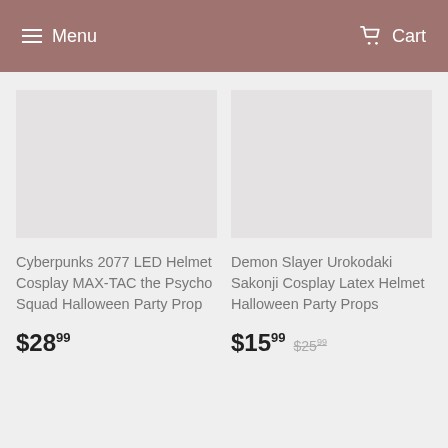Menu  Cart
Cyberpunks 2077 LED Helmet Cosplay MAX-TAC the Psycho Squad Halloween Party Prop
$28.99
Demon Slayer Urokodaki Sakonji Cosplay Latex Helmet Halloween Party Props
$15.99  $25.99